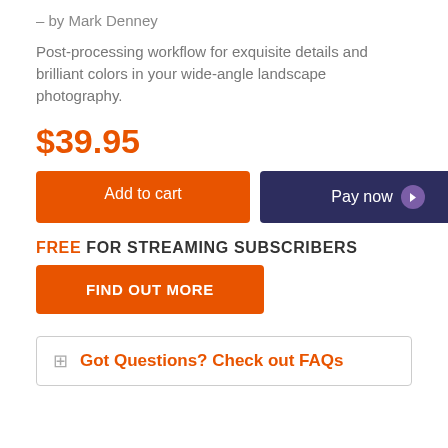– by Mark Denney
Post-processing workflow for exquisite details and brilliant colors in your wide-angle landscape photography.
$39.95
Add to cart
Pay now
FREE FOR STREAMING SUBSCRIBERS
FIND OUT MORE
Got Questions? Check out FAQs